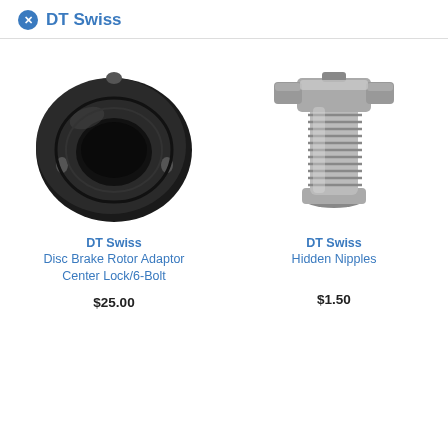DT Swiss
[Figure (photo): DT Swiss Disc Brake Rotor Adaptor Center Lock/6-Bolt - black ring/adaptor component product photo]
DT Swiss
Disc Brake Rotor Adaptor
Center Lock/6-Bolt
$25.00
[Figure (photo): DT Swiss Hidden Nipples - silver threaded nipple component product photo]
DT Swiss
Hidden Nipples
$1.50